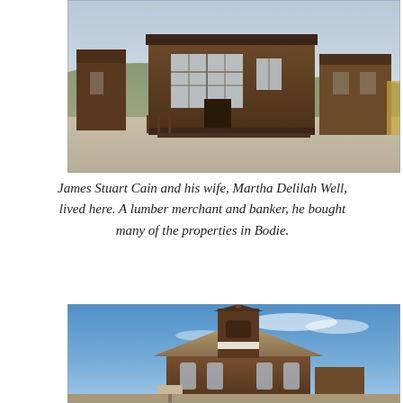[Figure (photo): Old wooden buildings in Bodie ghost town, California. A large storefront with big glass windows dominates the center, with other weathered brown wooden structures visible. Dirt ground in foreground, hills in background.]
James Stuart Cain and his wife, Martha Delilah Well, lived here. A lumber merchant and banker, he bought many of the properties in Bodie.
[Figure (photo): A wooden church building in Bodie ghost town with a bell tower/steeple topped with a decorative finial. The structure is brown weathered wood with arched windows. Blue sky with light clouds in background.]